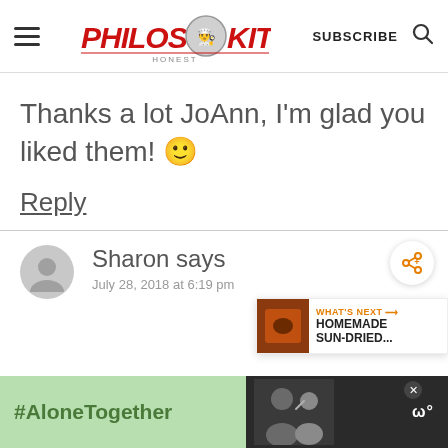Philos Kitchen — SUBSCRIBE
Thanks a lot JoAnn, I'm glad you liked them! 🙂
Reply
Sharon says
July 28, 2018 at 6:19 pm
[Figure (infographic): WHAT'S NEXT banner showing HOMEMADE SUN-DRIED... with food thumbnail]
[Figure (infographic): #AloneTogether advertisement banner at bottom with people image and logo]